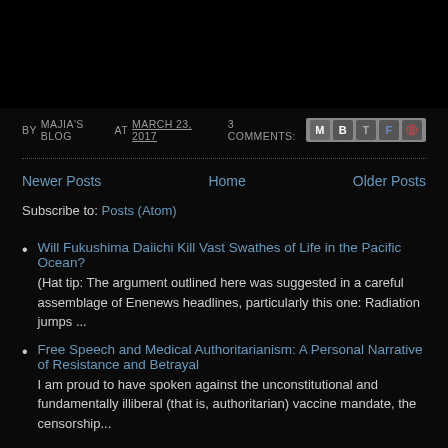BY MAJIA'S BLOG AT MARCH 23, 2017  3 COMMENTS:
Newer Posts  Home  Older Posts
Subscribe to: Posts (Atom)
Will Fukushima Daiichi Kill Vast Swathes of Life in the Pacific Ocean?
(Hat tip: The argument outlined here was suggested in a careful assemblage of Enenews headlines, particularly this one: Radiation jumps ...
Free Speech and Medical Authoritarianism: A Personal Narrative of Resistance and Betrayal
I am proud to have spoken against the unconstitutional and fundamentally illiberal (that is, authoritarian) vaccine mandate, the censorship...